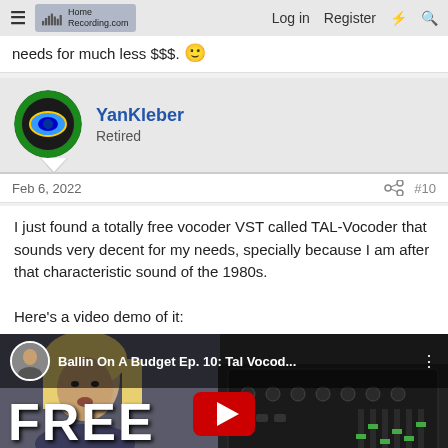≡  HomeRecording.com   Log in   Register   ⚡   🔍
needs for much less $$$.
YanKleber
Retired
Feb 6, 2022   #10
I just found a totally free vocoder VST called TAL-Vocoder that sounds very decent for my needs, specially because I am after that characteristic sound of the 1980s.

Here's a video demo of it:
[Figure (screenshot): YouTube video embed thumbnail: 'Ballin On A Budget Ep. 10: Tal Vocod...' showing a blonde woman and a synthesizer/vocoder device. Large 'FREE' text and YouTube play button visible at bottom.]